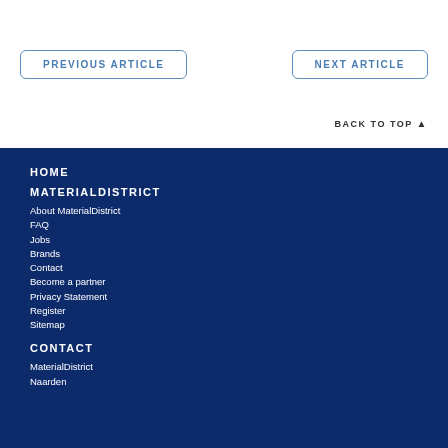PREVIOUS ARTICLE
NEXT ARTICLE
BACK TO TOP ▲
HOME
MATERIALDISTRICT
About MaterialDistrict
FAQ
Jobs
Brands
Contact
Become a partner
Privacy Statement
Register
Sitemap
CONTACT
MaterialDistrict
Naarden